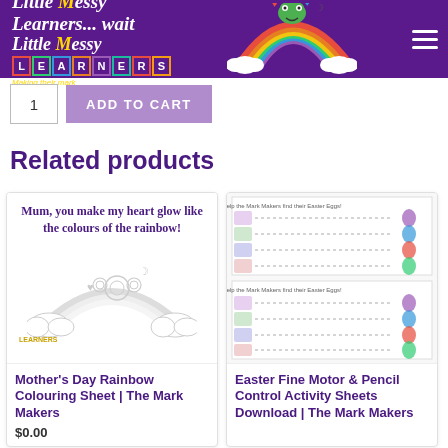Little Messy Learners - Making their mark
[Figure (screenshot): Add to Cart button with quantity box showing 1]
Related products
[Figure (illustration): Product card: Mother's Day Rainbow Colouring Sheet with rainbow illustration and text 'Mum, you make my heart glow like the colours of the rainbow!']
[Figure (illustration): Product card: Easter Fine Motor & Pencil Control Activity Sheets Download showing worksheet pages with dotted tracing lines and Easter characters]
Mother's Day Rainbow Colouring Sheet | The Mark Makers
Easter Fine Motor & Pencil Control Activity Sheets Download | The Mark Makers